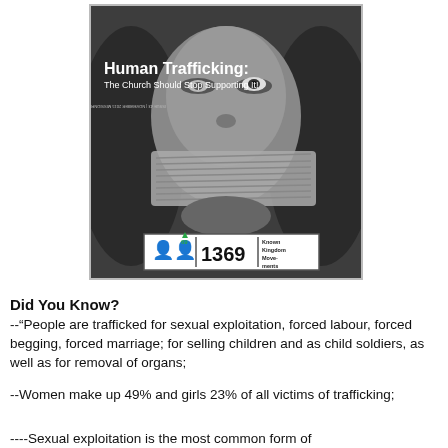[Figure (photo): Magazine cover showing a woman with mouth bound by rope/fabric, black and white photo. Title reads 'Human Trafficking: The Church Should Stop Supporting It!' with stats showing 69 and 1369 Known Kingdom Movements.]
Did You Know?
--“People are trafficked for sexual exploitation, forced labour, forced begging, forced marriage; for selling children and as child soldiers, as well as for removal of organs;
--Women make up 49% and girls 23% of all victims of trafficking;
----Sexual exploitation is the most common form of